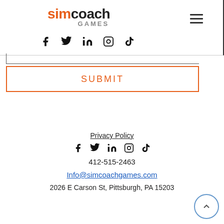[Figure (logo): SimCoach Games logo with orange 'sim' and dark 'coach' text, 'GAMES' subtitle in gray, hamburger menu icon, and social media icons (Facebook, Twitter, LinkedIn, Instagram, TikTok)]
[Figure (other): Submit button with orange border and orange 'SUBMIT' text]
Privacy Policy
[Figure (other): Social media icons row: Facebook, Twitter, LinkedIn, Instagram, TikTok]
412-515-2463
Info@simcoachgames.com
2026 E Carson St, Pittsburgh, PA 15203